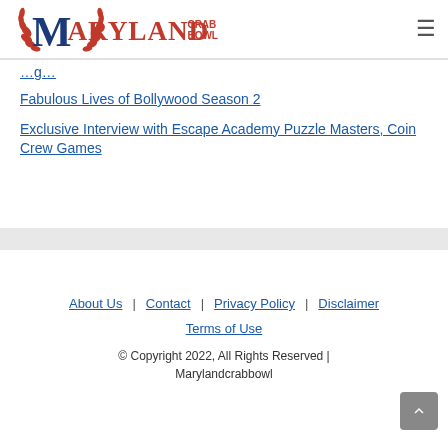Maryland Crab Bowl
Fabulous Lives of Bollywood Season 2
Exclusive Interview with Escape Academy Puzzle Masters, Coin Crew Games
About Us | Contact | Privacy Policy | Disclaimer | Terms of Use | © Copyright 2022, All Rights Reserved | Marylandcrabbowl